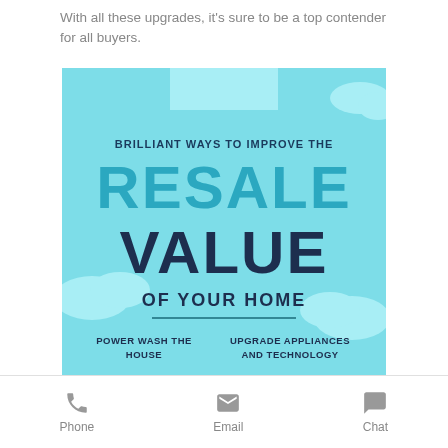With all these upgrades, it's sure to be a top contender for all buyers.
[Figure (infographic): Infographic titled 'Brilliant Ways to Improve the Resale Value of Your Home' on a light blue background with clouds. Below a horizontal line, two tips are listed: 'Power Wash the House' and 'Upgrade Appliances and Technology'.]
Phone  Email  Chat